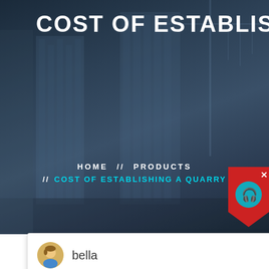COST OF ESTABLISHING A QUARRY
HOME // PRODUCTS // COST OF ESTABLISHING A QUARRY
[Figure (screenshot): Chat support popup from Liming Heavy Industry with avatar named bella and welcome message]
Welcome to Liming Heavy Industry! Now our on-line service is chatting with you! please choose: 1.English
Latest Projects
[Figure (photo): Industrial quarry/crusher equipment machinery photo]